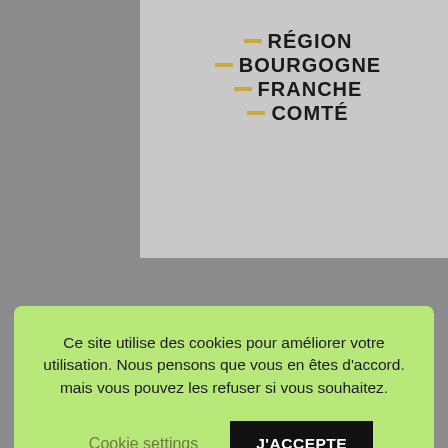[Figure (logo): Région Bourgogne Franche Comté logo — bold black text with gold/yellow decorative dashes on the left of each word]
Ce site utilise des cookies pour améliorer votre utilisation. Nous pensons que vous en êtes d'accord. mais vous pouvez les refuser si vous souhaitez.
Cookie settings
J'ACCEPTE
Sélectionner un mois